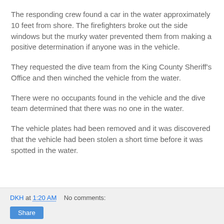The responding crew found a car in the water approximately 10 feet from shore. The firefighters broke out the side windows but the murky water prevented them from making a positive determination if anyone was in the vehicle.
They requested the dive team from the King County Sheriff's Office and then winched the vehicle from the water.
There were no occupants found in the vehicle and the dive team determined that there was no one in the water.
The vehicle plates had been removed and it was discovered that the vehicle had been stolen a short time before it was spotted in the water.
DKH at 1:20 AM    No comments:    Share